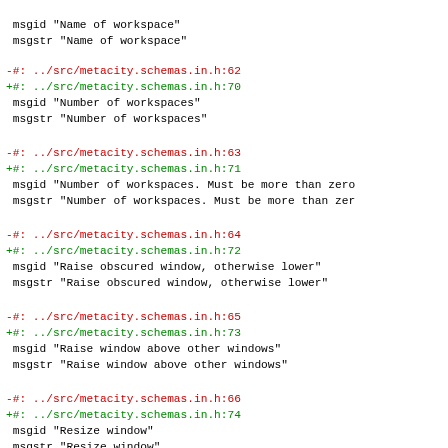msgid "Name of workspace"
msgstr "Name of workspace"
-#: ../src/metacity.schemas.in.h:62
+#: ../src/metacity.schemas.in.h:70
 msgid "Number of workspaces"
 msgstr "Number of workspaces"
-#: ../src/metacity.schemas.in.h:63
+#: ../src/metacity.schemas.in.h:71
 msgid "Number of workspaces. Must be more than zero
 msgstr "Number of workspaces. Must be more than zer
-#: ../src/metacity.schemas.in.h:64
+#: ../src/metacity.schemas.in.h:72
 msgid "Raise obscured window, otherwise lower"
 msgstr "Raise obscured window, otherwise lower"
-#: ../src/metacity.schemas.in.h:65
+#: ../src/metacity.schemas.in.h:73
 msgid "Raise window above other windows"
 msgstr "Raise window above other windows"
-#: ../src/metacity.schemas.in.h:66
+#: ../src/metacity.schemas.in.h:74
 msgid "Resize window"
 msgstr "Resize window"
-#: ../src/metacity.schemas.in.h:67
+#: ../src/metacity.schemas.in.h:75